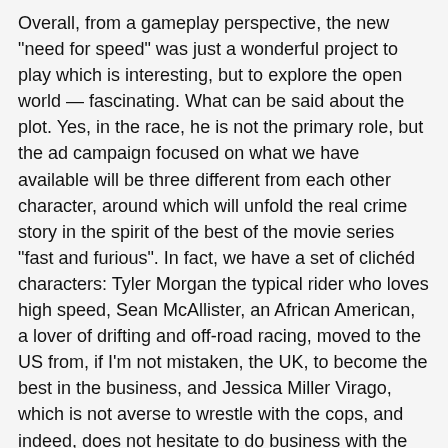Overall, from a gameplay perspective, the new "need for speed" was just a wonderful project to play which is interesting, but to explore the open world — fascinating. What can be said about the plot. Yes, in the race, he is not the primary role, but the ad campaign focused on what we have available will be three different from each other character, around which will unfold the real crime story in the spirit of the best of the movie series "fast and furious". In fact, we have a set of clichéd characters: Tyler Morgan the typical rider who loves high speed, Sean McAllister, an African American, a lover of drifting and off-road racing, moved to the US from, if I'm not mistaken, the UK, to become the best in the business, and Jessica Miller Virago, which is not averse to wrestle with the cops, and indeed, does not hesitate to do business with the underworld. A turned out supporting characters and villains that are "bad because bad". The story begins with a very "original" of betrayal that the characters will take revenge on the entire game, climbing up the ladder of illegal racing Fortuna valley.
But God bless him, with the plot, because in the game much nicer to participate in a series of races, not to watch talking heads (otherwise called characters I just can't, unfortunately). And the